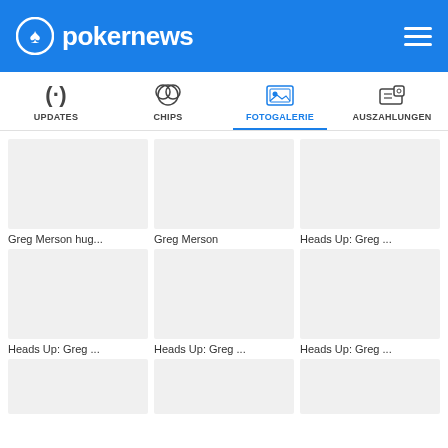pokernews
UPDATES | CHIPS | FOTOGALERIE | AUSZAHLUNGEN
[Figure (screenshot): Photo gallery grid showing poker event photos with captions: Greg Merson hug..., Greg Merson, Heads Up: Greg ..., Heads Up: Greg ..., Heads Up: Greg ..., Heads Up: Greg ...]